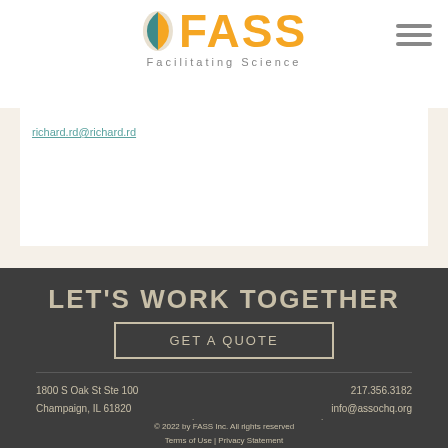[Figure (logo): FASS logo with leaf icon and tagline 'Facilitating Science']
richard.rd@richard.rd
LET'S WORK TOGETHER
GET A QUOTE
1800 S Oak St Ste 100
Champaign, IL 61820
217.356.3182
info@assochq.org
ACCOUNTING  |  CONFERENCE PLANNING  |  EVENT MANAGEMENT  |  MEMBERSHIP & ADMINISTRATION  |  PUBLICATION SERVICES  |  IT SERVICES
© 2022 by FASS Inc. All rights reserved
Terms of Use | Privacy Statement